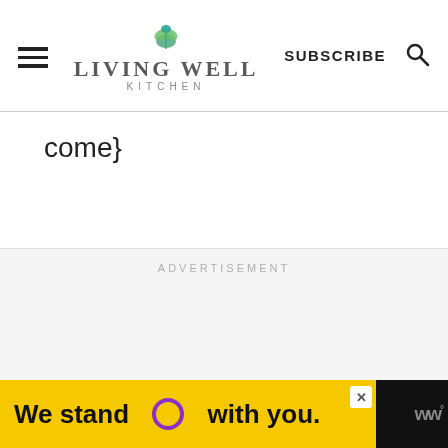Living Well Kitchen — SUBSCRIBE
come}
ADVERTISEMENT
[Figure (other): Bottom advertisement bar: yellow background with text 'We stand O with you.' where O is a purple circle, with a close button and WW logo]